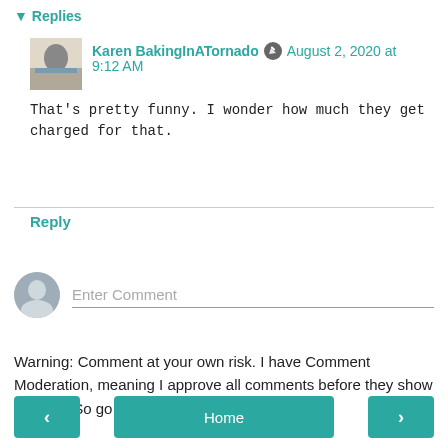▾ Replies
Karen BakingInATornado  ✏  August 2, 2020 at 9:12 AM
That's pretty funny. I wonder how much they get charged for that.
Reply
Enter Comment
Warning: Comment at your own risk. I have Comment Moderation, meaning I approve all comments before they show up here. So go ahead, I'm not scared!
‹
Home
›